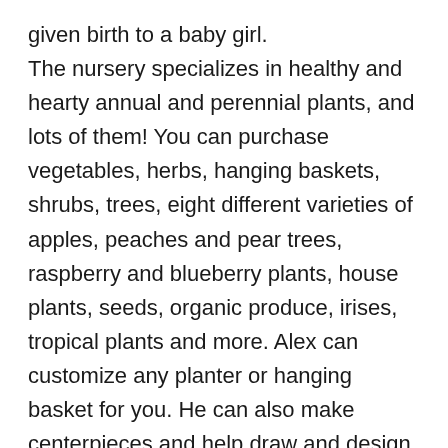given birth to a baby girl. The nursery specializes in healthy and hearty annual and perennial plants, and lots of them! You can purchase vegetables, herbs, hanging baskets, shrubs, trees, eight different varieties of apples, peaches and pear trees, raspberry and blueberry plants, house plants, seeds, organic produce, irises, tropical plants and more. Alex can customize any planter or hanging basket for you. He can also make centerpieces and help draw and design a landscape plan for your home, including using deer resistant plants. The Nursery is number one in hands on service. Misty, one of their three cats, will enthusiastically greet you as you enter the large barn where you will